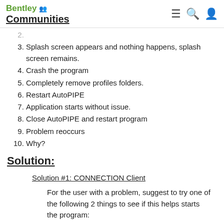Bentley Communities
2. (partially cut off)
3. Splash screen appears and nothing happens, splash screen remains.
4. Crash the program
5. Completely remove profiles folders.
6. Restart AutoPIPE
7. Application starts without issue.
8. Close AutoPIPE and restart program
9. Problem reoccurs
10. Why?
Solution:
Solution #1: CONNECTION Client
For the user with a problem, suggest to try one of the following 2 things to see if this helps starts the program:
1. Disconnect internet and then launch AutoPIPE. If used previously, it should be able to switch to